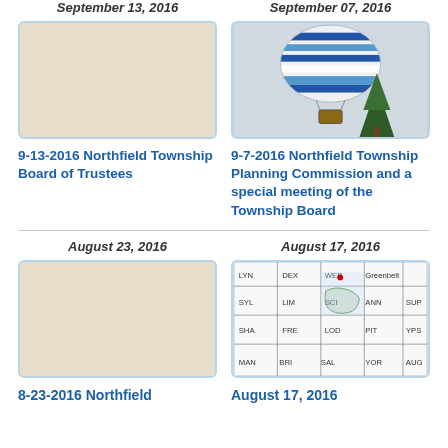September 13, 2016
[Figure (photo): Placeholder image with beige/tan background]
9-13-2016 Northfield Township Board of Trustees
September 07, 2016
[Figure (photo): Photo of a hot air balloon with blue and white stripes and a tree in the background]
9-7-2016 Northfield Township Planning Commission and a special meeting of the Township Board
August 23, 2016
[Figure (photo): Placeholder image with beige/tan background]
August 17, 2016
[Figure (map): Township map showing Northfield area with grid of township names: LYN, DEX, WEB, Greenbelt, ANN, SUP, SYL, LIM, SCI, SHA, FRE, LOD, PIT, YPS, MAN, BRI, SAL, YOR, AUG]
8-23-2016 Northfield
August 17, 2016